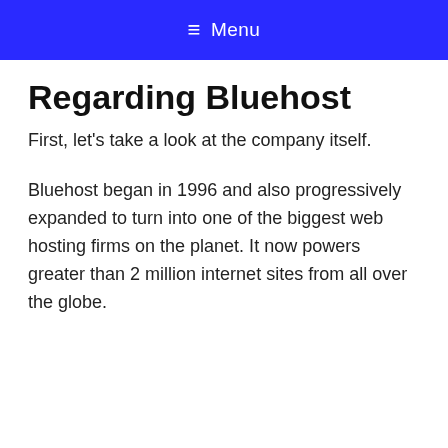≡ Menu
Regarding Bluehost
First, let's take a look at the company itself.
Bluehost began in 1996 and also progressively expanded to turn into one of the biggest web hosting firms on the planet. It now powers greater than 2 million internet sites from all over the globe.